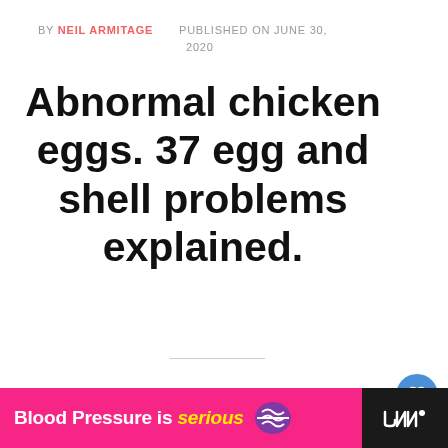BY NEIL ARMITAGE   PUBLISHED ON JUNE 30, 2020
Abnormal chicken eggs. 37 egg and shell problems explained.
[Figure (photo): A shell-less or soft-shelled chicken egg resting in straw/hay, golden-yellowish in color]
[Figure (photo): What's Next thumbnail showing a small egg on grass with text: How do you deal with eg...]
[Figure (infographic): Advertisement banner: Blood Pressure is serious with pill icon and dark right panel showing CNN logo]